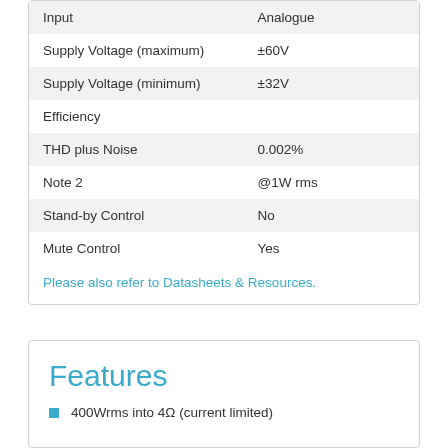|  |  |
| --- | --- |
| Input | Analogue |
| Supply Voltage (maximum) | ±60V |
| Supply Voltage (minimum) | ±32V |
| Efficiency |  |
| THD plus Noise | 0.002% |
| Note 2 | @1W rms |
| Stand-by Control | No |
| Mute Control | Yes |
Please also refer to Datasheets & Resources.
Features
400Wrms into 4Ω (current limited)